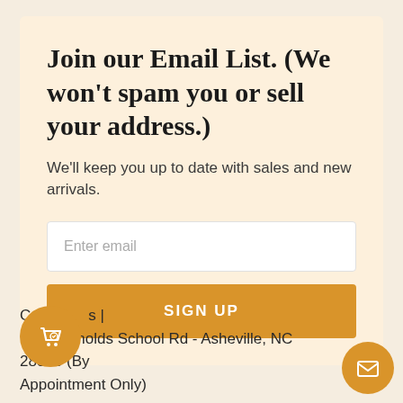Join our Email List. (We won't spam you or sell your address.)
We'll keep you up to date with sales and new arrivals.
Enter email
SIGN UP
C...s | 118 Reynolds School Rd - Asheville, NC 28803 (By Appointment Only)
[Figure (illustration): Orange circular button with shopping bag and heart icon]
[Figure (illustration): Orange circular button with envelope/mail icon]